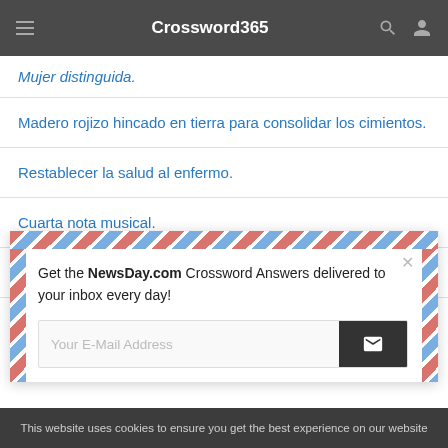Crossword365
Mujer distinguida.
Madero rojizo hincado en tierra para consolidar los cimientos.
Restablecer la salud al enfermo.
Cuarta nota musical.
Profeta moro.
[Figure (screenshot): Email subscription modal with air mail border stripe design. Text reads: 'Get the NewsDay.com Crossword Answers delivered to your inbox every day!' with an email input field and submit button.]
This website uses cookies to ensure you get the best experience on our website